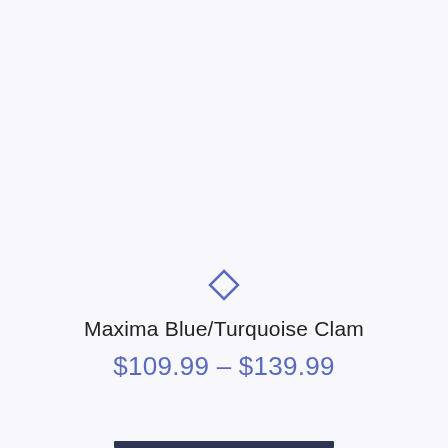[Figure (illustration): Diamond/rhombus outline icon in blue-purple color]
Maxima Blue/Turquoise Clam
$109.99 – $139.99